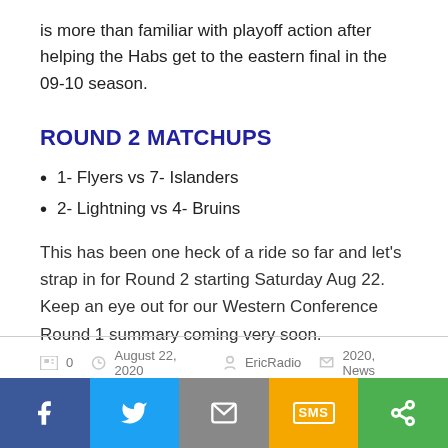is more than familiar with playoff action after helping the Habs get to the eastern final in the 09-10 season.
ROUND 2 MATCHUPS
1- Flyers vs 7- Islanders
2- Lightning vs 4- Bruins
This has been one heck of a ride so far and let’s strap in for Round 2 starting Saturday Aug 22. Keep an eye out for our Western Conference Round 1 summary coming very soon.
0 | August 22, 2020 | EricRadio | 2020, News